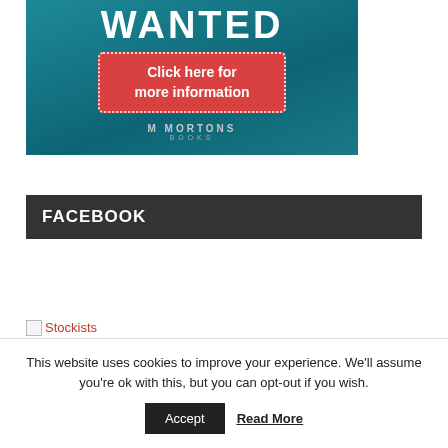[Figure (illustration): Advertisement banner for Mortons Books with teal background, showing 'WANTED' in large white bold text at top, a red button with white dotted border saying 'Click here for more information', and the Mortons Books logo at bottom.]
FACEBOOK
[Figure (illustration): Broken image placeholder with alt text 'Stockists' shown as a link in red text.]
This website uses cookies to improve your experience. We'll assume you're ok with this, but you can opt-out if you wish.
Accept  Read More